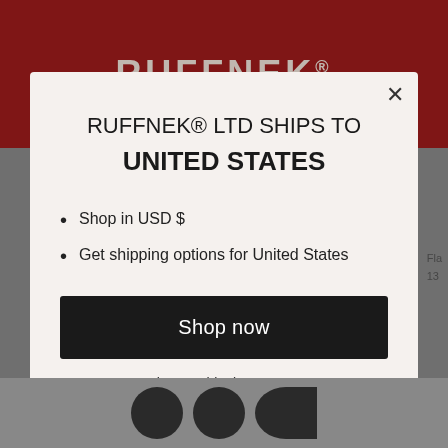[Figure (screenshot): Red header bar with RUFFNEK® logo in distressed serif-style lettering]
RUFFNEK® LTD SHIPS TO UNITED STATES
Shop in USD $
Get shipping options for United States
Shop now
Change shipping country